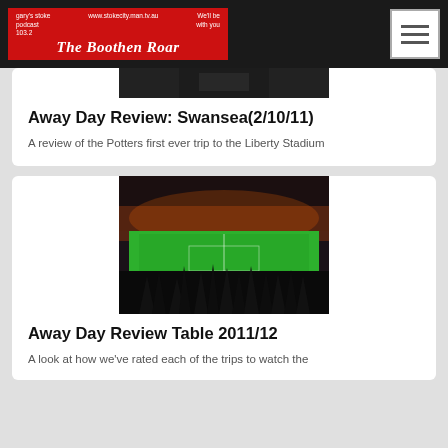The Boothen Roar
[Figure (photo): Partial view of a dark stadium/crowd photo at the top of the first card]
Away Day Review: Swansea(2/10/11)
A review of the Potters first ever trip to the Liberty Stadium
[Figure (photo): Football stadium photo with crowd raising hands silhouetted against a brightly lit green pitch at night]
Away Day Review Table 2011/12
A look at how we've rated each of the trips to watch the